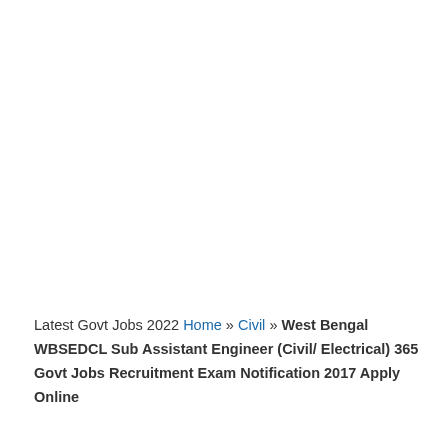Latest Govt Jobs 2022 Home » Civil » West Bengal WBSEDCL Sub Assistant Engineer (Civil/ Electrical) 365 Govt Jobs Recruitment Exam Notification 2017 Apply Online